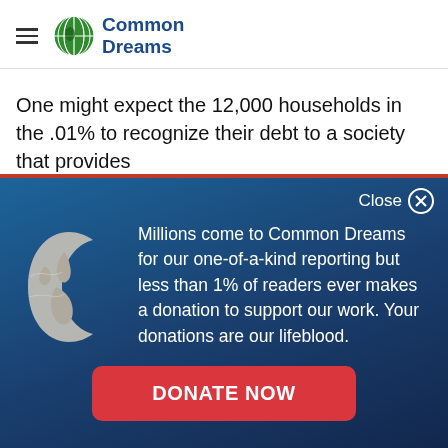Common Dreams
One might expect the 12,000 households in the .01% to recognize their debt to a society that provides
[Figure (other): Modal overlay with dark blue gradient background. Contains a globe icon on the left, descriptive text, and a red donate button.]
Millions come to Common Dreams for our one-of-a-kind reporting but less than 1% of readers ever makes a donation to support our work. Your donations are our lifeblood.
DONATE NOW